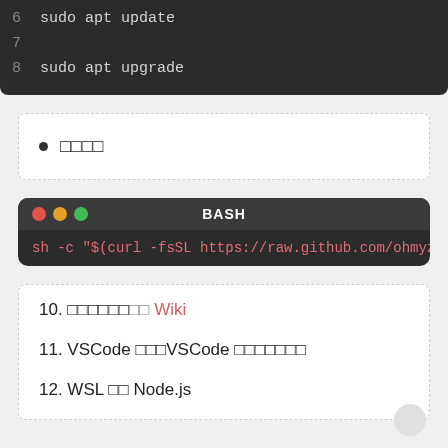[Figure (screenshot): Dark-themed code editor showing lines 6-8 with 'sudo apt update' on line 6, empty line 7, and 'sudo apt upgrade' on line 8]
□□□□
[Figure (screenshot): Terminal bash block with macOS-style traffic light buttons, title BASH, and command: sh -c "$(curl -fsSL https://raw.github.com/ohmyz...]
10. □□□□□□□□ Wiki
11. VSCode □□□VSCode □□□□□□□
12. WSL □□ Node.js